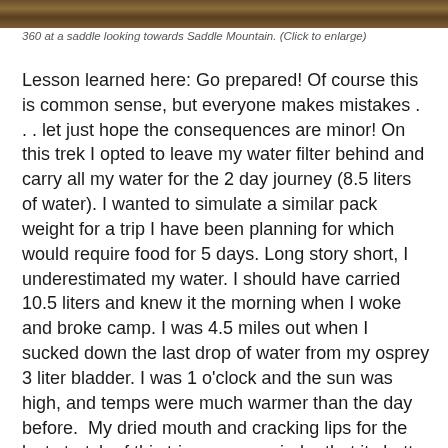[Figure (photo): Photo strip at top of page showing a mountain saddle view towards Saddle Mountain]
360 at a saddle looking towards Saddle Mountain. (Click to enlarge)
Lesson learned here: Go prepared! Of course this is common sense, but everyone makes mistakes . . . let just hope the consequences are minor! On this trek I opted to leave my water filter behind and carry all my water for the 2 day journey (8.5 liters of water). I wanted to simulate a similar pack weight for a trip I have been planning for which would require food for 5 days. Long story short, I underestimated my water. I should have carried 10.5 liters and knew it the morning when I woke and broke camp. I was 4.5 miles out when I sucked down the last drop of water from my osprey 3 liter bladder. I was 1 o'clock and the sun was high, and temps were much warmer than the day before.  My dried mouth and cracking lips for the last stretch of this trip was a reminder that its better to overestimate water consumption. I finished out my trek and got back to the truck where I guzzled a half full warm water bottle I had sitting in the cab of my truck. I was so thankful that